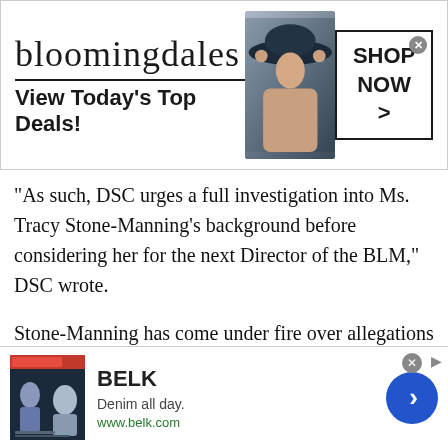[Figure (screenshot): Bloomingdale's advertisement banner: logo text 'bloomingdales', tagline 'View Today's Top Deals!', image of woman in hat, 'SHOP NOW >' call-to-action button]
"As such, DSC urges a full investigation into Ms. Tracy Stone-Manning's background before considering her for the next Director of the BLM," DSC wrote.
Stone-Manning has come under fire over allegations that she misled senators about her links to the eco-terrorist plot. She has also faced scrutiny for urging population control to protect the environment in her graduate thesis.
Biden's BLM pick was granted immunity in exchange for
[Figure (screenshot): BELK advertisement: 'Denim all day. www.belk.com' with product images and blue arrow button]